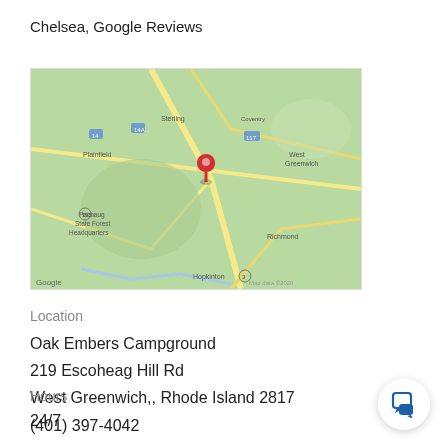Chelsea, Google Reviews
[Figure (map): Google Maps screenshot showing the location of Oak Embers Campground in West Greenwich, Rhode Island, with a red map pin marker. Shows surrounding areas including Pachaug State Forest Headquarters, Richmond, Hopkinton, Plainfield, Sterling, West Greenwich. Google Maps branding visible, Map data 2020.]
Location
Oak Embers Campground
219 Escoheag Hill Rd
West Greenwich,, Rhode Island 2817
(401) 397-4042
Hours
24/7